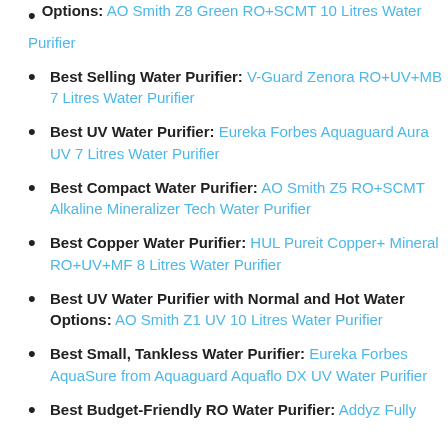Options: AO Smith Z8 Green RO+SCMT 10 Litres Water Purifier
Best Selling Water Purifier: V-Guard Zenora RO+UV+MB 7 Litres Water Purifier
Best UV Water Purifier: Eureka Forbes Aquaguard Aura UV 7 Litres Water Purifier
Best Compact Water Purifier: AO Smith Z5 RO+SCMT Alkaline Mineralizer Tech Water Purifier
Best Copper Water Purifier: HUL Pureit Copper+ Mineral RO+UV+MF 8 Litres Water Purifier
Best UV Water Purifier with Normal and Hot Water Options: AO Smith Z1 UV 10 Litres Water Purifier
Best Small, Tankless Water Purifier: Eureka Forbes AquaSure from Aquaguard Aquaflo DX UV Water Purifier
Best Budget-Friendly RO Water Purifier: Addyz Fully ...